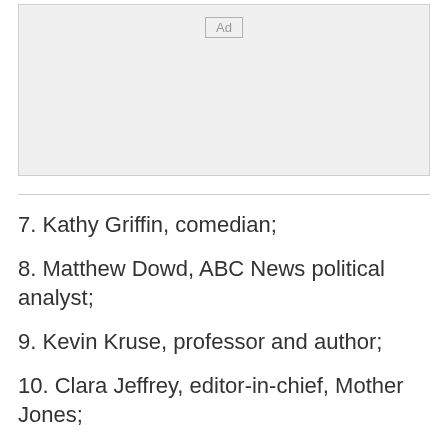[Figure (other): Advertisement placeholder box with 'Ad' label]
7. Kathy Griffin, comedian;
8. Matthew Dowd, ABC News political analyst;
9. Kevin Kruse, professor and author;
10. Clara Jeffrey, editor-in-chief, Mother Jones;
11. Jodi Jacobson, editor-in-chief, Rewire News